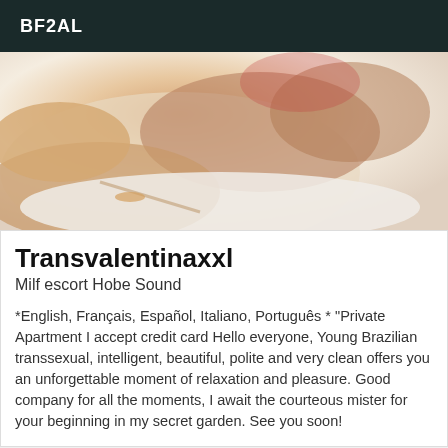BF2AL
[Figure (photo): Close-up photo of a person lying on white bedding, showing arms and torso with a bracelet visible]
Transvalentinaxxl
Milf escort Hobe Sound
*English, Français, Español, Italiano, Português * "Private Apartment I accept credit card Hello everyone, Young Brazilian transsexual, intelligent, beautiful, polite and very clean offers you an unforgettable moment of relaxation and pleasure. Good company for all the moments, I await the courteous mister for your beginning in my secret garden. See you soon!